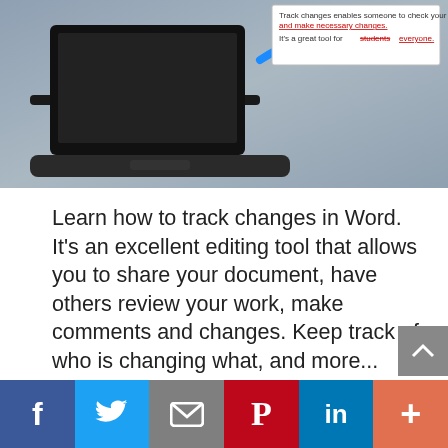[Figure (illustration): Laptop computer with a blue arrow pointing to a tooltip/callout box that reads: 'Track changes enables someone to check your work and make necessary changes. It's a great tool for students everyone.' The tooltip shows tracked changes with strikethrough and underline formatting.]
Learn how to track changes in Word. It's an excellent editing tool that allows you to share your document, have others review your work, make comments and changes. Keep track of who is changing what, and more...
[Figure (infographic): Row of six social share buttons: Facebook (blue, f), Twitter (blue, bird), Email (grey, envelope), Pinterest (red, P), LinkedIn (blue, in), Plus/More (orange, +)]
[Figure (infographic): Bottom bar with six social share icons: Facebook, Twitter, Email, Pinterest, LinkedIn, Plus/More]